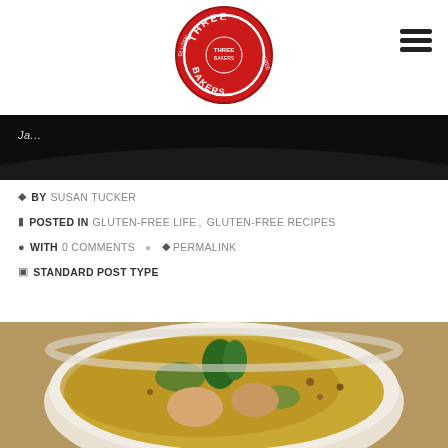[Figure (logo): Three Bakers Gluten Free circular logo in red and white]
[Figure (illustration): Hamburger menu icon (three horizontal lines)]
[Figure (photo): Dark banner/header strip with curved bottom edge and partial italic text 'Ja...']
BY SUSAN TUCKER
POSTED IN GLUTEN-FREE LIFE, GLUTEN-FREE RECIPES
WITH 0 COMMENTS  PERMALINK
STANDARD POST TYPE
[Figure (photo): Close-up photo of a white bowl filled with lentil soup, chicken dumplings, vegetables, and garnished with fresh parsley, set on a burlap surface]